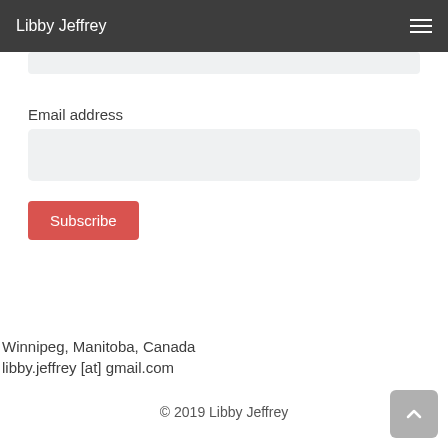Libby Jeffrey
Email address
Subscribe
Winnipeg, Manitoba, Canada
libby.jeffrey [at] gmail.com
© 2019 Libby Jeffrey